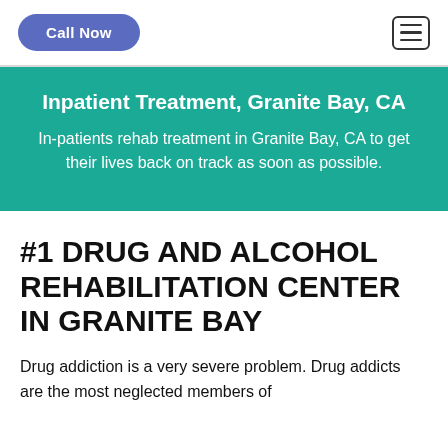Call Now
Inpatient Treatment, Granite Bay, CA
In-patients rehab treatment in Granite Bay, CA to get their lives back on track as soon as possible.
#1 DRUG AND ALCOHOL REHABILITATION CENTER IN GRANITE BAY
Drug addiction is a very severe problem. Drug addicts are the most neglected members of